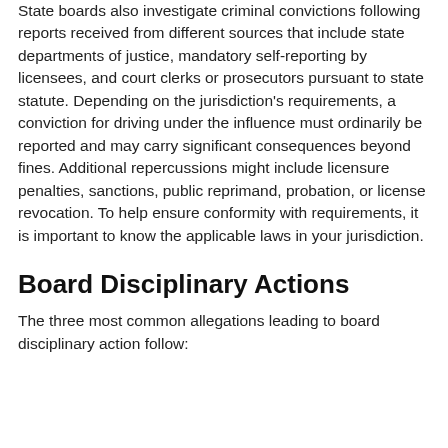State boards also investigate criminal convictions following reports received from different sources that include state departments of justice, mandatory self-reporting by licensees, and court clerks or prosecutors pursuant to state statute. Depending on the jurisdiction's requirements, a conviction for driving under the influence must ordinarily be reported and may carry significant consequences beyond fines. Additional repercussions might include licensure penalties, sanctions, public reprimand, probation, or license revocation. To help ensure conformity with requirements, it is important to know the applicable laws in your jurisdiction.
Board Disciplinary Actions
The three most common allegations leading to board disciplinary action follow: